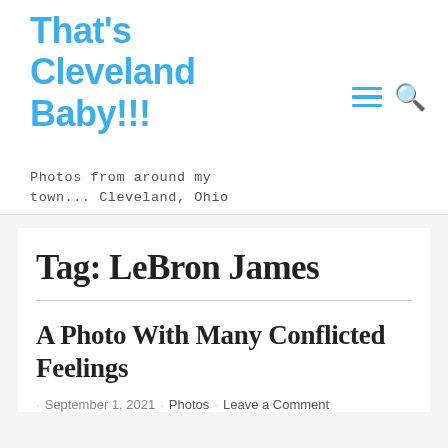That's Cleveland Baby!!!
Photos from around my town... Cleveland, Ohio
Tag: LeBron James
A Photo With Many Conflicted Feelings
· September 1, 2021 · Photos · Leave a Comment